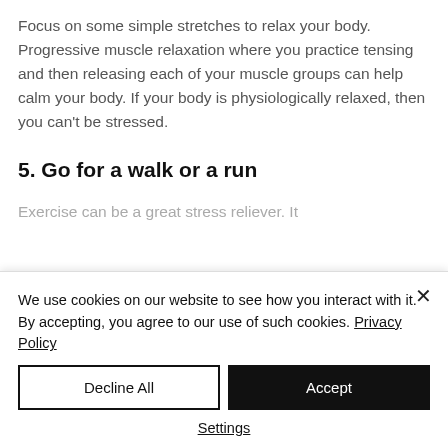Focus on some simple stretches to relax your body. Progressive muscle relaxation where you practice tensing and then releasing each of your muscle groups can help calm your body. If your body is physiologically relaxed, then you can't be stressed.
5. Go for a walk or a run
Exercise can be a great stress reliever. It
We use cookies on our website to see how you interact with it. By accepting, you agree to our use of such cookies. Privacy Policy
Decline All
Accept
Settings